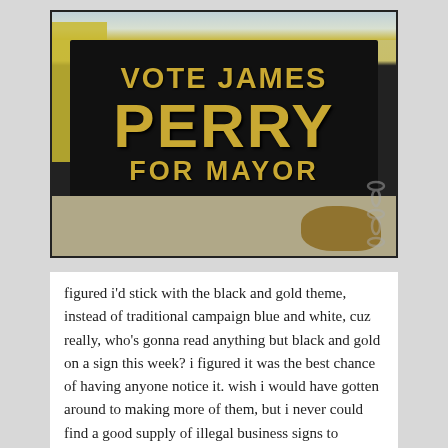[Figure (photo): A black campaign sign with gold stencil lettering reading 'VOTE JAMES PERRY FOR MAYOR', photographed outdoors leaning against objects with leaves and chains visible in the background.]
figured i'd stick with the black and gold theme, instead of traditional campaign blue and white, cuz really, who's gonna read anything but black and gold on a sign this week? i figured it was the best chance of having anyone notice it. wish i would have gotten around to making more of them, but i never could find a good supply of illegal business signs to appropriate. so yeah, don't forget to